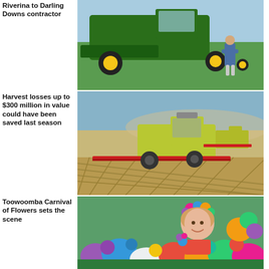Riverina to Darling Downs contractor
[Figure (photo): Man standing in front of a large green John Deere combine harvester in a green crop field]
Harvest losses up to $300 million in value could have been saved last season
[Figure (photo): Yellow-green CLAAS combine harvester working in a golden grain field with dust in the air]
Toowoomba Carnival of Flowers sets the scene
[Figure (photo): Woman wearing flower crown surrounded by colorful flowers at Toowoomba Carnival of Flowers]